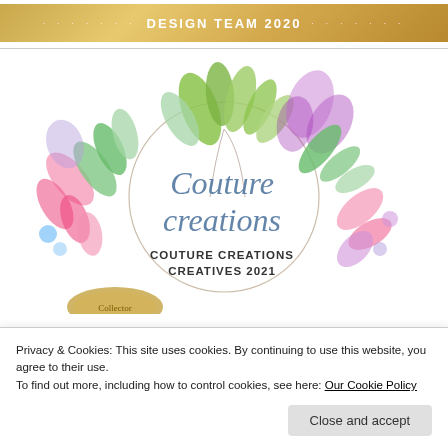DESIGN TEAM 2020
[Figure (logo): Couture Creations logo with watercolor floral wreath of green leaves, pink and purple botanicals surrounding a circular white center with cursive 'Couture creations' text and 'COUTURE CREATIONS CREATIVES 2021' in black serif below]
Privacy & Cookies: This site uses cookies. By continuing to use this website, you agree to their use.
To find out more, including how to control cookies, see here: Our Cookie Policy
Close and accept